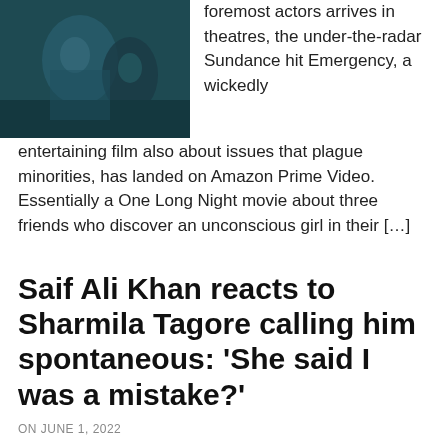[Figure (photo): A dark-toned image showing figures in what appears to be a theatrical or dramatic scene with teal/dark background.]
foremost actors arrives in theatres, the under-the-radar Sundance hit Emergency, a wickedly entertaining film also about issues that plague minorities, has landed on Amazon Prime Video. Essentially a One Long Night movie about three friends who discover an unconscious girl in their […]
Saif Ali Khan reacts to Sharmila Tagore calling him spontaneous: ‘She said I was a mistake?’
ON JUNE 1, 2022
[Figure (photo): Partial bottom image, cropped.]